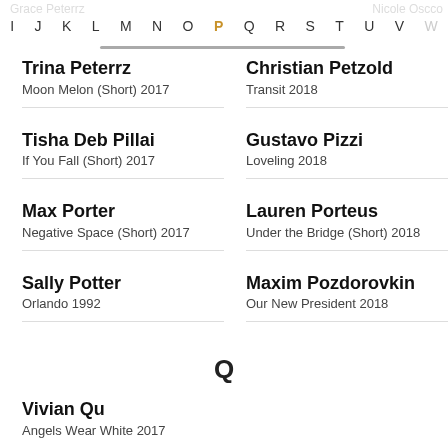I J K L M N O P Q R S T U V W — Grace Peterrz / Nicole Oscco
Trina Peterrz
Moon Melon (Short) 2017
Christian Petzold
Transit 2018
Tisha Deb Pillai
If You Fall (Short) 2017
Gustavo Pizzi
Loveling 2018
Max Porter
Negative Space (Short) 2017
Lauren Porteus
Under the Bridge (Short) 2018
Sally Potter
Orlando 1992
Maxim Pozdorovkin
Our New President 2018
Q
Vivian Qu
Angels Wear White 2017